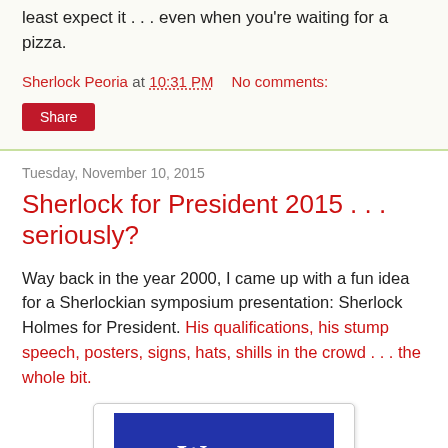least expect it . . . even when you're waiting for a pizza.
Sherlock Peoria at 10:31 PM   No comments:
Share
Tuesday, November 10, 2015
Sherlock for President 2015 . . . seriously?
Way back in the year 2000, I came up with a fun idea for a Sherlockian symposium presentation: Sherlock Holmes for President. His qualifications, his stump speech, posters, signs, hats, shills in the crowd . . . the whole bit.
[Figure (photo): A blue campaign-style poster showing the text 'We can but try' in white serif font on a blue background, displayed in a white-bordered card/frame.]